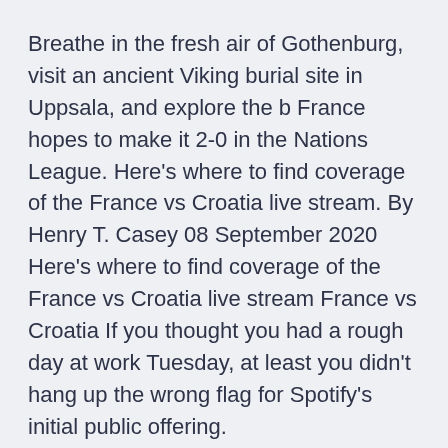Breathe in the fresh air of Gothenburg, visit an ancient Viking burial site in Uppsala, and explore the b France hopes to make it 2-0 in the Nations League. Here's where to find coverage of the France vs Croatia live stream. By Henry T. Casey 08 September 2020 Here's where to find coverage of the France vs Croatia live stream France vs Croatia If you thought you had a rough day at work Tuesday, at least you didn't hang up the wrong flag for Spotify's initial public offering.